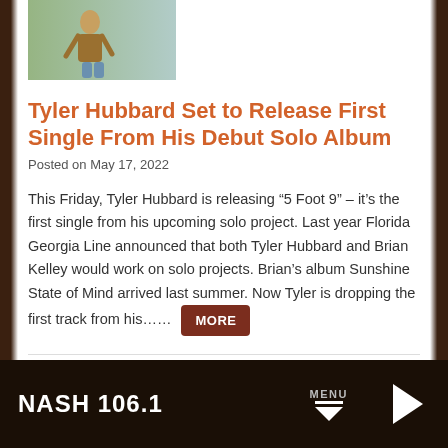[Figure (photo): Photo of a person sitting outdoors, wearing a brown jacket]
Tyler Hubbard Set to Release First Single From His Debut Solo Album
Posted on May 17, 2022
This Friday, Tyler Hubbard is releasing “5 Foot 9” – it’s the first single from his upcoming solo project. Last year Florida Georgia Line announced that both Tyler Hubbard and Brian Kelley would work on solo projects. Brian’s album Sunshine State of Mind arrived last summer. Now Tyler is dropping the first track from his……
NASH 106.1